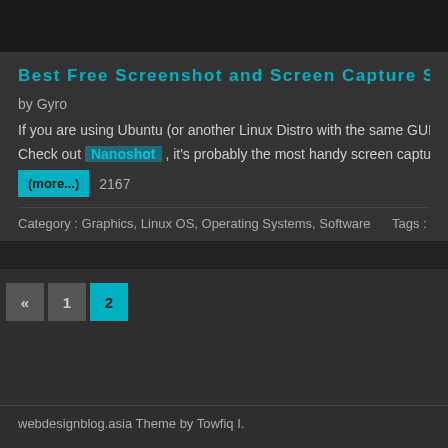Best Free Screenshot and Screen Capture Software 201
by Gyro
If you are using Ubuntu (or another Linux Distro with the same GUI), I have
Check out Nanoshot , it's probably the most handy screen capturing tool th
(more...) 2167
Category : Graphics, Linux OS, Operating Systems, Software    Tags : Gra
« 1 2
webdesignblog.asia Theme by Towfiq I.